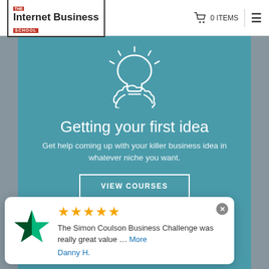[Figure (logo): The Internet Business School logo — red 'THE' badge, bold 'Internet Business' text, red 'SCHOOL' badge, all in a black border box]
0 ITEMS
[Figure (illustration): White outline icon of a human head with a lightbulb above it on a teal background, representing ideas]
Getting your first idea
Get help coming up with your killer business idea in whatever niche you want.
VIEW COURSES
[Figure (illustration): Trustpilot green star icon]
★★★★★
The Simon Coulson Business Challenge was really great value ... More
Danny H.